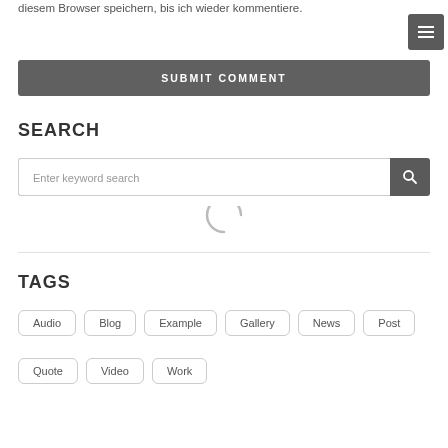diesem Browser speichern, bis ich wieder kommentiere.
[Figure (screenshot): Dark grey menu/hamburger button with three white horizontal bars in top-right corner]
[Figure (screenshot): Dark grey SUBMIT COMMENT button, full width]
SEARCH
[Figure (screenshot): Search input field with placeholder 'Enter keyword search' and a dark grey search icon button on the right]
[Figure (screenshot): Loading spinner arc (grey semicircle arc indicating loading)]
TAGS
Audio
Blog
Example
Gallery
News
Post
Quote
Video
Work